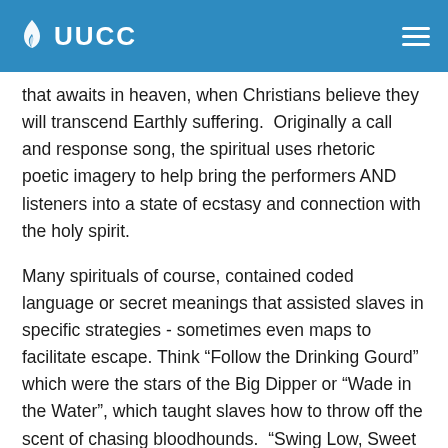UUCC
that awaits in heaven, when Christians believe they will transcend Earthly suffering.  Originally a call and response song, the spiritual uses rhetoric poetic imagery to help bring the performers AND listeners into a state of ecstasy and connection with the holy spirit.
Many spirituals of course, contained coded language or secret meanings that assisted slaves in specific strategies - sometimes even maps to facilitate escape. Think “Follow the Drinking Gourd” which were the stars of the Big Dipper or “Wade in the Water”, which taught slaves how to throw off the scent of chasing bloodhounds.  “Swing Low, Sweet Chariot”, apparently one of Harriet Tubman’s favorites, suggests in code that another conductor would soon be coming to “carry